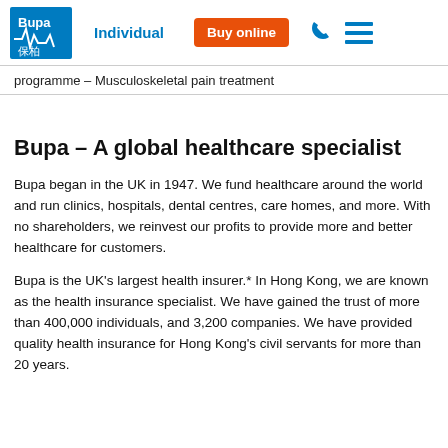Bupa 保柏 | Individual | Buy online
programme – Musculoskeletal pain treatment
Bupa – A global healthcare specialist
Bupa began in the UK in 1947. We fund healthcare around the world and run clinics, hospitals, dental centres, care homes, and more. With no shareholders, we reinvest our profits to provide more and better healthcare for customers.
Bupa is the UK's largest health insurer.* In Hong Kong, we are known as the health insurance specialist. We have gained the trust of more than 400,000 individuals, and 3,200 companies. We have provided quality health insurance for Hong Kong's civil servants for more than 20 years.